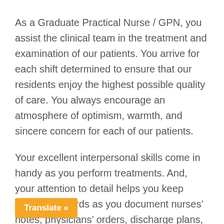As a Graduate Practical Nurse / GPN, you assist the clinical team in the treatment and examination of our patients. You arrive for each shift determined to ensure that our residents enjoy the highest possible quality of care. You always encourage an atmosphere of optimism, warmth, and sincere concern for each of our patients.
Your excellent interpersonal skills come in handy as you perform treatments. And, your attention to detail helps you keep accurate records as you document nurses’ notes, physicians’ orders, discharge plans, dietary changes, reports, evaluations, and studies. When it comes to personal and private information, [tac]tful and discreet. You also patiently [ly recognize, address, and report any